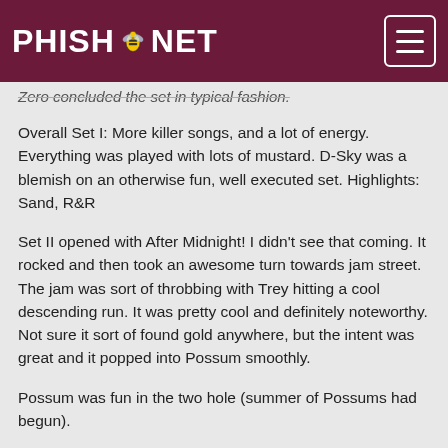PHISH.NET
Zero concluded the set in typical fashion.
Overall Set I: More killer songs, and a lot of energy. Everything was played with lots of mustard. D-Sky was a blemish on an otherwise fun, well executed set. Highlights: Sand, R&R
Set II opened with After Midnight! I didn't see that coming. It rocked and then took an awesome turn towards jam street. The jam was sort of throbbing with Trey hitting a cool descending run. It was pretty cool and definitely noteworthy. Not sure it sort of found gold anywhere, but the intent was great and it popped into Possum smoothly.
Possum was fun in the two hole (summer of Possums had begun).
Drowned was back to the jams and a nod to our